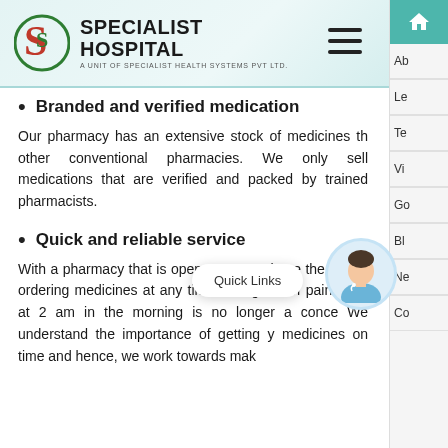SPECIALIST HOSPITAL — A UNIT OF SPECIALIST HEALTH SYSTEMS PVT LTD
Branded and verified medication
Our pharmacy has an extensive stock of medicines that other conventional pharmacies. We only sell medications that are verified and packed by trained pharmacists.
Quick and reliable service
With a pharmacy that is open 24*7, you have the choice of ordering medicines at any time. Being out of painkillers at 2 am in the morning is no longer a concern. We understand the importance of getting your medicines on time and hence, we work towards mak